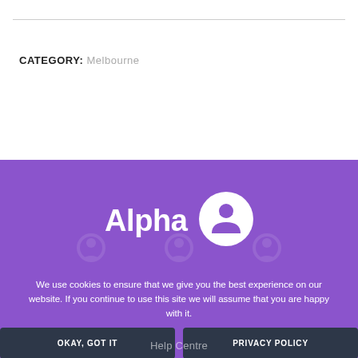CATEGORY: Melbourne
[Figure (logo): Alpha logo with person/user icon in white circle on purple background]
We use cookies to ensure that we give you the best experience on our website. If you continue to use this site we will assume that you are happy with it.
OKAY, GOT IT
PRIVACY POLICY
Help Centre